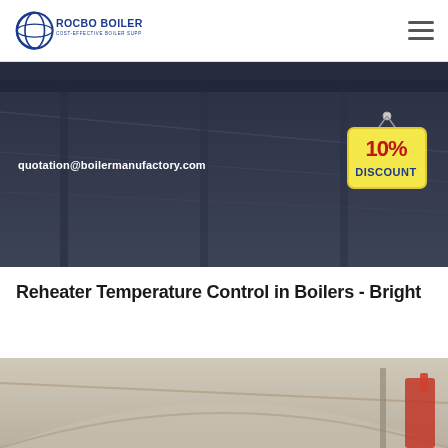ROCBO BOILER - COST-EFFECTIVE BOILER SUPPLIER
[Figure (screenshot): Dark industrial building interior hero banner with email quotation@boilermanufactory.com and a 10% DISCOUNT hanging sign badge]
Reheater Temperature Control in Boilers - Bright
[Figure (photo): Interior of an industrial boiler facility showing ceiling structure and pipes]